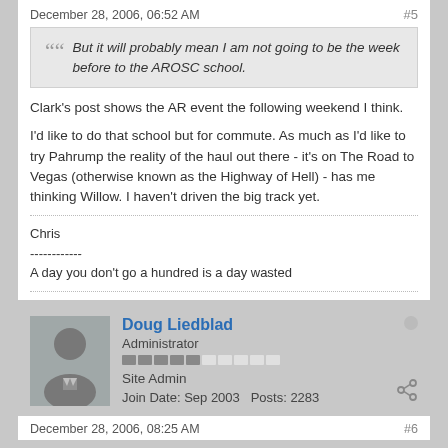December 28, 2006, 06:52 AM   #5
But it will probably mean I am not going to be the week before to the AROSC school.
Clark's post shows the AR event the following weekend I think.
I'd like to do that school but for commute. As much as I'd like to try Pahrump the reality of the haul out there - it's on The Road to Vegas (otherwise known as the Highway of Hell) - has me thinking Willow. I haven't driven the big track yet.
Chris
------------
A day you don't go a hundred is a day wasted
Doug Liedblad
Administrator
Site Admin
Join Date: Sep 2003   Posts: 2283
December 28, 2006, 08:25 AM   #6